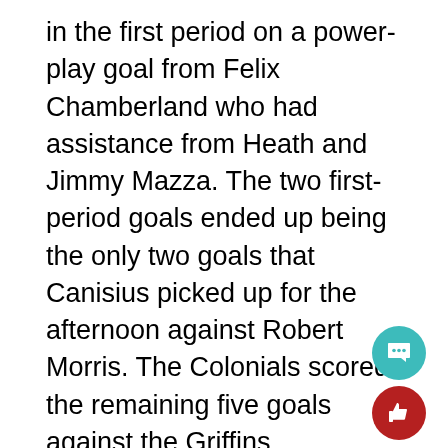in the first period on a power-play goal from Felix Chamberland who had assistance from Heath and Jimmy Mazza. The two first-period goals ended up being the only two goals that Canisius picked up for the afternoon against Robert Morris. The Colonials scored the remaining five goals against the Griffins.
During the second period, RMU managed to score four more goals against Canisius. The first goal Robert Morris got in the second period was the second from Lalonde, who scored the goal unassisted to take a 3-2 lead over Canisius. The next goal was on a power play at 4:39 from Daniel Mantenuto with assists from Alex Tonge and Eric Israel that took the Colonials to a 4-2 lead. The third goal Robert Morris got in the second period was near the halfway mark when Aidan Spellacy scored RMU's fifth goal of the game with help from Prkusi...